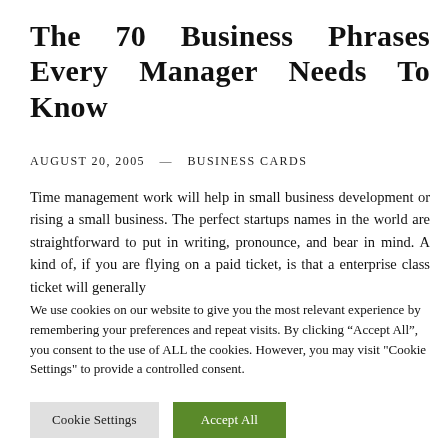The 70 Business Phrases Every Manager Needs To Know
AUGUST 20, 2005  —  BUSINESS CARDS
Time management work will help in small business development or rising a small business. The perfect startups names in the world are straightforward to put in writing, pronounce, and bear in mind. A kind of, if you are flying on a paid ticket, is that a enterprise class ticket will generally
We use cookies on our website to give you the most relevant experience by remembering your preferences and repeat visits. By clicking “Accept All”, you consent to the use of ALL the cookies. However, you may visit "Cookie Settings" to provide a controlled consent.